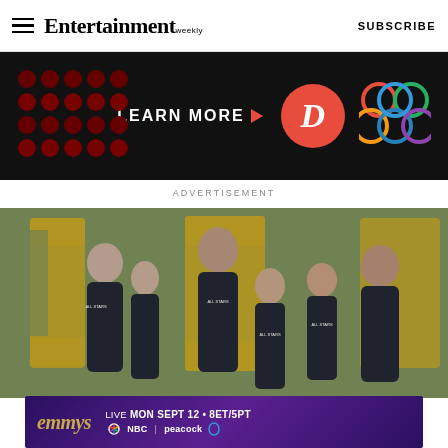Entertainment Weekly   SUBSCRIBE
[Figure (illustration): Advertisement banner with dark background, dot pattern, circular D logo in red, colorful interlocked circles logo, and LEARN MORE text with red arrow]
ADVERTISEMENT
[Figure (photo): Group of people wearing 'The Challenge All Stars' black shirts standing in front of large gold letters outdoors]
[Figure (illustration): Emmys promotional banner: emmys logo in gold italic, LIVE MON SEPT 12 • 8ET/5PT, NBC and Peacock logos on purple gradient background]